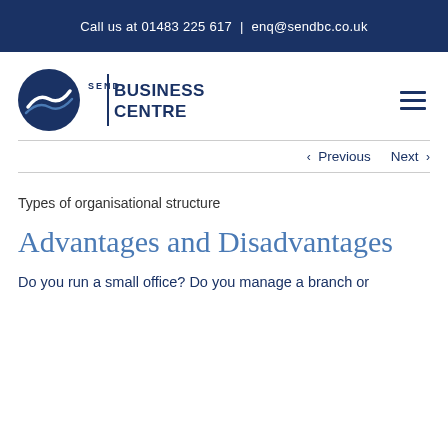Call us at 01483 225 617  |  enq@sendbc.co.uk
[Figure (logo): Send Business Centre logo — circular icon with stylised road/path and text 'SEND | BUSINESS CENTRE']
< Previous   Next >
Types of organisational structure
Advantages and Disadvantages
Do you run a small office? Do you manage a branch or